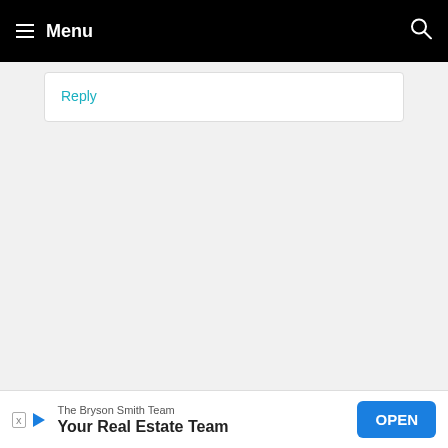Menu
Reply
[Figure (screenshot): Advertisement: The Bryson Smith Team - Your Real Estate Team with OPEN button]